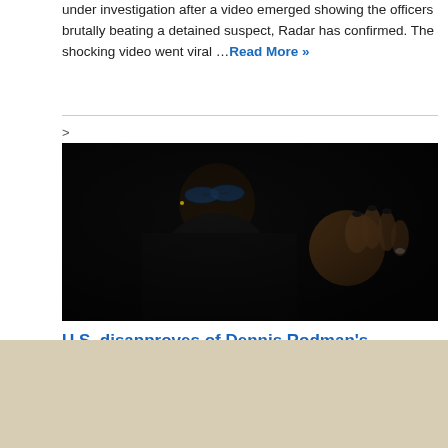under investigation after a video emerged showing the officers brutally beating a detained suspect, Radar has confirmed. The shocking video went viral … Read More »
>
[Figure (photo): A person wearing sunglasses with blue-tinted lenses against a dark background, appearing to be speaking or gesturing with their hands raised.]
U.S. disapproves of Dennis Rodman's planned rescue mission for Griner
Published by Reuters By Steve Holland WASHINGTON (Reuters) – The White House has a dim view of former American pro basketball player Dennis Rodman's reported